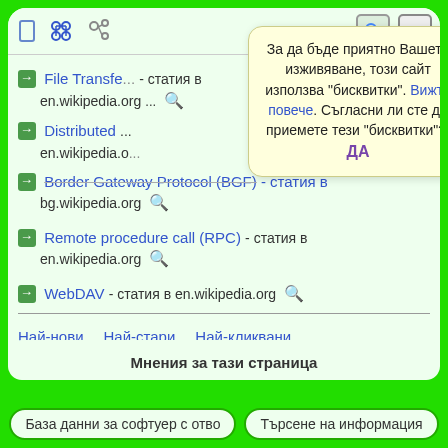[Figure (screenshot): Mobile browser toolbar with navigation icons]
За да бъде приятно Вашето изживяване, този сайт използва "бисквитки". Вижте повече. Съгласни ли сте да приемете тези "бисквитки"?  ДА
File Transfer ... - статия в en.wikipedia.org
Distributed ... en.wikipedia.org
Border Gateway Protocol (BGF) - статия в bg.wikipedia.org
Remote procedure call (RPC) - статия в en.wikipedia.org
WebDAV - статия в en.wikipedia.org
Най-нови   Най-стари   Най-кликвани
Мнения за тази страница
База данни за софтуер с отво   Търсене на информация